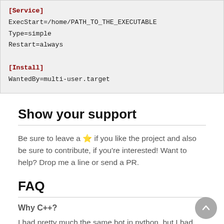[Service]
ExecStart=/home/PATH_TO_THE_EXECUTABLE
Type=simple
Restart=always

[Install]
WantedBy=multi-user.target
Show your support
Be sure to leave a ⭐ if you like the project and also be sure to contribute, if you're interested! Want to help? Drop me a line or send a PR.
FAQ
Why C++?
I had pretty much the same bot in python, but I had